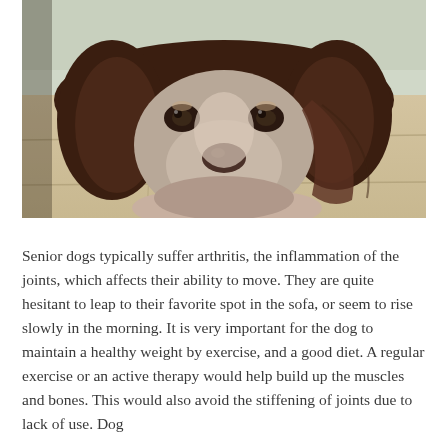[Figure (photo): A brown and white Springer Spaniel dog lying down on a tiled floor, chin resting on its paws, looking up at the camera with large expressive eyes.]
Senior dogs typically suffer arthritis, the inflammation of the joints, which affects their ability to move. They are quite hesitant to leap to their favorite spot in the sofa, or seem to rise slowly in the morning. It is very important for the dog to maintain a healthy weight by exercise, and a good diet. A regular exercise or an active therapy would help build up the muscles and bones. This would also avoid the stiffening of joints due to lack of use. Dog